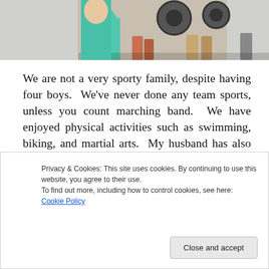[Figure (photo): Partial photo showing people standing near what appears to be train wheels/machinery, with one person in a teal/turquoise top visible on the left.]
We are not a very sporty family, despite having four boys.  We've never done any team sports, unless you count marching band.  We have enjoyed physical activities such as swimming, biking, and martial arts.  My husband has also done stereotypical father/son things like camping, model rockets, and watching games on tv.  Not ball games, video games.
Privacy & Cookies: This site uses cookies. By continuing to use this website, you agree to their use.
To find out more, including how to control cookies, see here: Cookie Policy